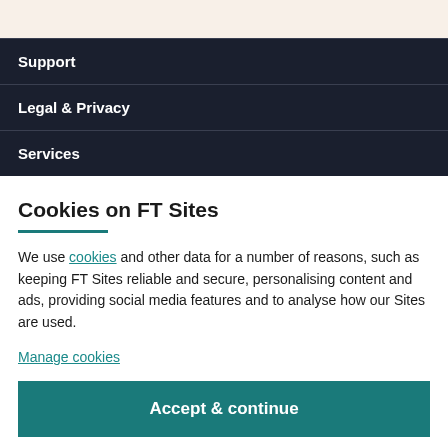Support
Legal & Privacy
Services
Cookies on FT Sites
We use cookies and other data for a number of reasons, such as keeping FT Sites reliable and secure, personalising content and ads, providing social media features and to analyse how our Sites are used.
Manage cookies
Accept & continue